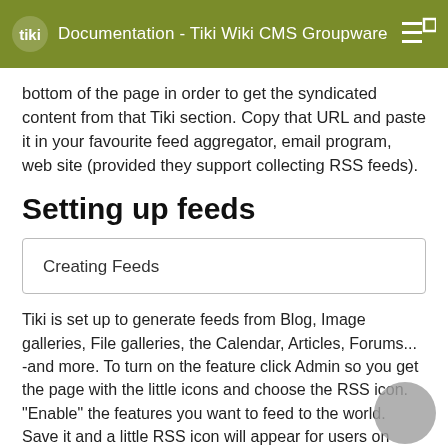Documentation - Tiki Wiki CMS Groupware
bottom of the page in order to get the syndicated content from that Tiki section. Copy that URL and paste it in your favourite feed aggregator, email program, web site (provided they support collecting RSS feeds).
Setting up feeds
| Creating Feeds |
Tiki is set up to generate feeds from Blog, Image galleries, File galleries, the Calendar, Articles, Forums... -and more. To turn on the feature click Admin so you get the page with the little icons and choose the RSS icon. "Enable" the features you want to feed to the world. Save it and a little RSS icon will appear for users on pages where a feed is available.